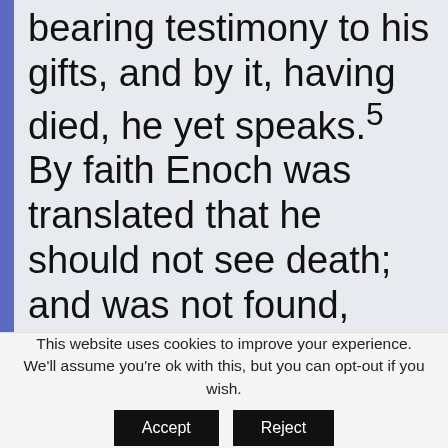bearing testimony to his gifts, and by it, having died, he yet speaks.⁵ By faith Enoch was translated that he should not see death; and was not found, because God had translated him; for before [his] translation he has the
This website uses cookies to improve your experience. We'll assume you're ok with this, but you can opt-out if you wish.